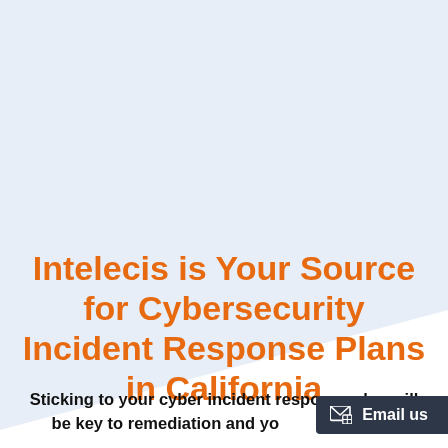[Figure (illustration): Light blue diagonal background shape covering the upper portion of the page, with a diagonal edge running from upper left to lower right, transitioning to white background.]
Intelecis is Your Source for Cybersecurity Incident Response Plans in California
Sticking to your cyber incident response plan will be key to remediation and yo... se